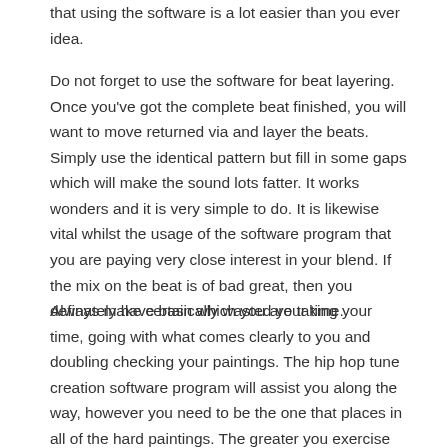that using the software is a lot easier than you ever idea.
Do not forget to use the software for beat layering. Once you've got the complete beat finished, you will want to move returned via and layer the beats. Simply use the identical pattern but fill in some gaps which will make the sound lots fatter. It works wonders and it is very simple to do. It is likewise vital whilst the usage of the software program that you are paying very close interest in your blend. If the mix on the beat is of bad great, then you definately have basically wasted your time.
Always make certain which you are taking your time, going with what comes clearly to you and doubling checking your paintings. The hip hop tune creation software program will assist you along the way, however you need to be the one that places in all of the hard paintings. The greater you exercise with your software, the simpler it'll get for you.